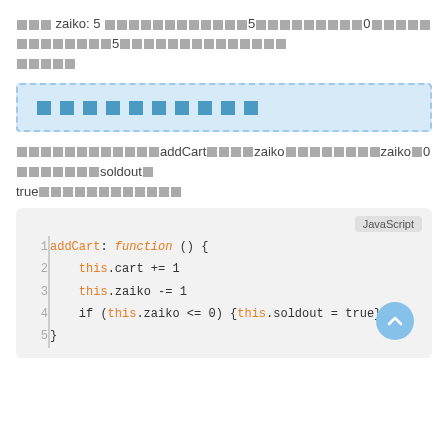□□□ zaiko: 5 □□□□□□□□□□□□□5□□□□□□□□□□0□□□□□□□□□□□□□5□□□□□□□□□□□□□□□□□□□□□
□□□□□□□□□□□□□□addCart□□□□zaiko□□□□□□□□zaiko□0□□□□□□□soldout□true□□□□□□□□□□□□□
[Figure (screenshot): Blue highlighted box with Japanese text placeholder characters]
[Figure (screenshot): Code block showing JavaScript addCart function with syntax highlighting. Lines: 1: addCart: function () {, 2: this.cart += 1, 3: this.zaiko -= 1, 4: if (this.zaiko <= 0) {this.soldout = true}, 5: }]